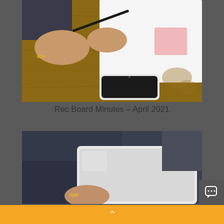[Figure (photo): Close-up of hands holding a pen over an open notebook on a wooden table, with a smartphone and a pink sticky note visible]
Rec Board Minutes – April 2021
[Figure (photo): Person in dark clothes sitting and using a laptop computer, partial view of hands and laptop on lap]
Orange footer bar with upward chevron arrow